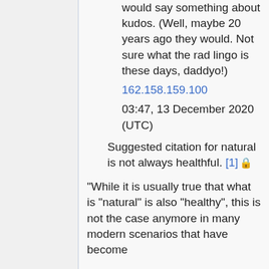would say something about kudos. (Well, maybe 20 years ago they would. Not sure what the rad lingo is these days, daddyo!)
162.158.159.100
03:47, 13 December 2020 (UTC)
Suggested citation for natural is not always healthful. [1] 🔒
"While it is usually true that what is "natural" is also "healthy", this is not the case anymore in many modern scenarios that have become